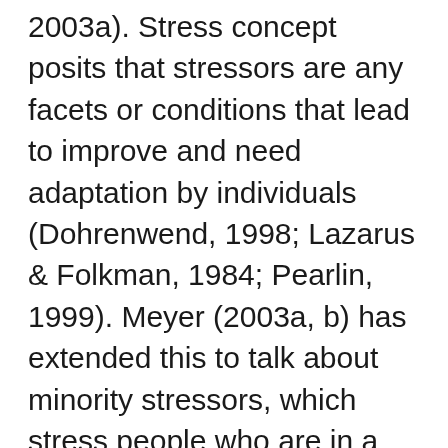2003a). Stress concept posits that stressors are any facets or conditions that lead to improve and need adaptation by individuals (Dohrenwend, 1998; Lazarus & Folkman, 1984; Pearlin, 1999). Meyer (2003a, b) has extended this to talk about minority stressors, which stress people who are in a disadvantaged social place because they might need adaptation to an inhospitable social environment, like the